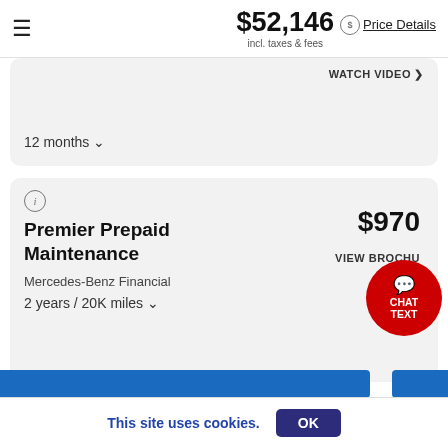$52,146 incl. taxes & fees | Price Details
WATCH VIDEO
12 months
[Figure (infographic): Premier Prepaid Maintenance plan card showing $970 price, Mercedes-Benz Financial provider, 2 years / 20K miles term, VIEW BROCHURE link, and info icon]
Show All Plans
This site uses cookies.